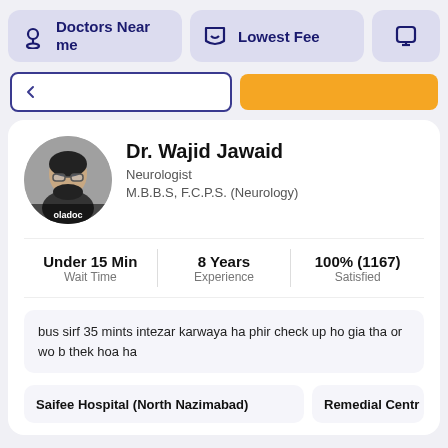Doctors Near me | Lowest Fee
[Figure (screenshot): Search bar with back arrow and orange search button]
Dr. Wajid Jawaid
Neurologist
M.B.B.S, F.C.P.S. (Neurology)
Under 15 Min
Wait Time
8 Years
Experience
100% (1167)
Satisfied
bus sirf 35 mints intezar karwaya ha phir check up ho gia tha or wo b thek hoa ha
Saifee Hospital (North Nazimabad)
Remedial Centr